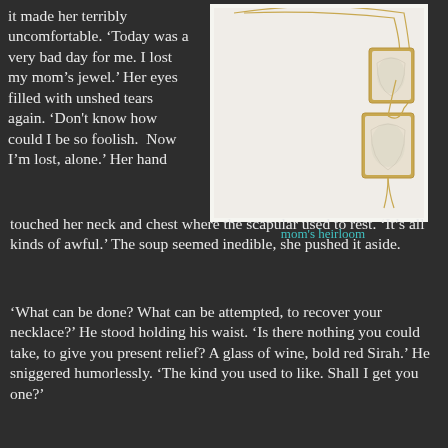it made her terribly uncomfortable. ‘Today was a very bad day for me. I lost my mom’s jewel.’ Her eyes filled with unshed tears again. ‘Don't know how could I be so foolish. Now I’m lost, alone.’ Her hand touched her neck and chest where the scapular used to rest. ‘It’s all kinds of awful.’ The soup seemed inedible, she pushed it aside.
[Figure (photo): Two layered gold necklaces with rectangular mother-of-pearl or white stone pendants on a white background]
mom's heirloom
‘What can be done? What can be attempted, to recover your necklace?’ He stood holding his waist. ‘Is there nothing you could take, to give you present relief? A glass of wine, bold red Sirah.’ He sniggered humorlessly. ‘The kind you used to like. Shall I get you one?’